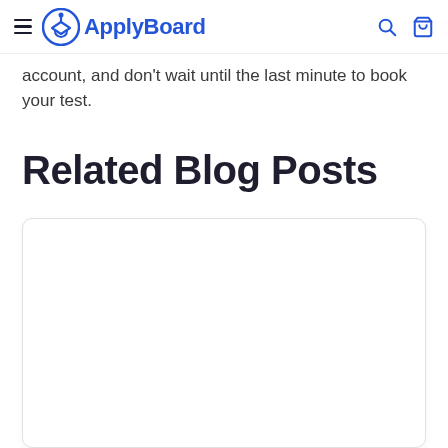ApplyBoard
account, and don't wait until the last minute to book your test.
Related Blog Posts
[Figure (other): White card/image placeholder area below 'Related Blog Posts' heading]